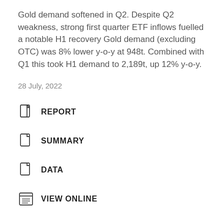Gold demand softened in Q2. Despite Q2 weakness, strong first quarter ETF inflows fuelled a notable H1 recovery Gold demand (excluding OTC) was 8% lower y-o-y at 948t. Combined with Q1 this took H1 demand to 2,189t, up 12% y-o-y.
28 July, 2022
REPORT
SUMMARY
DATA
VIEW ONLINE